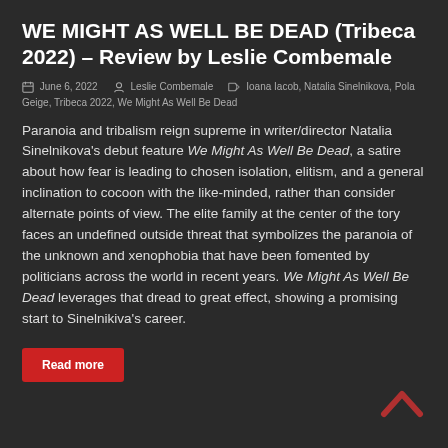WE MIGHT AS WELL BE DEAD (Tribeca 2022) – Review by Leslie Combemale
June 6, 2022  Leslie Combemale  Ioana Iacob, Natalia Sinelnikova, Pola Geige, Tribeca 2022, We Might As Well Be Dead
Paranoia and tribalism reign supreme in writer/director Natalia Sinelnikova's debut feature We Might As Well Be Dead, a satire about how fear is leading to chosen isolation, elitism, and a general inclination to cocoon with the like-minded, rather than consider alternate points of view. The elite family at the center of the tory faces an undefined outside threat that symbolizes the paranoia of the unknown and xenophobia that have been fomented by politicians across the world in recent years. We Might As Well Be Dead leverages that dread to great effect, showing a promising start to Sinelnikiva's career.
Read more